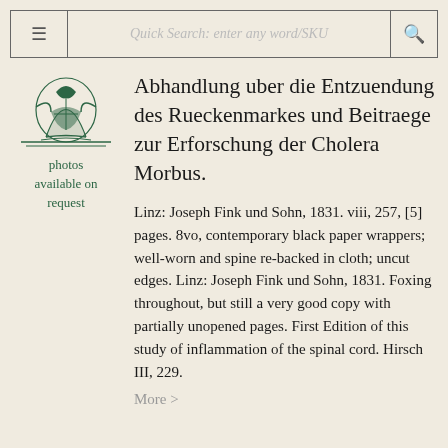Quick Search: enter any word/SKU
[Figure (logo): Green illustrated logo of a figure with a ship or crest, used as a bookseller emblem]
photos available on request
Abhandlung uber die Entzuendung des Rueckenmarkes und Beitraege zur Erforschung der Cholera Morbus.
Linz: Joseph Fink und Sohn, 1831. viii, 257, [5] pages. 8vo, contemporary black paper wrappers; well-worn and spine re-backed in cloth; uncut edges. Linz: Joseph Fink und Sohn, 1831. Foxing throughout, but still a very good copy with partially unopened pages. First Edition of this study of inflammation of the spinal cord. Hirsch III, 229.
More >